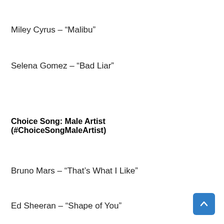Miley Cyrus – “Malibu”
Selena Gomez – “Bad Liar”
Choice Song: Male Artist (#ChoiceSongMaleArtist)
Bruno Mars – “That’s What I Like”
Ed Sheeran – “Shape of You”